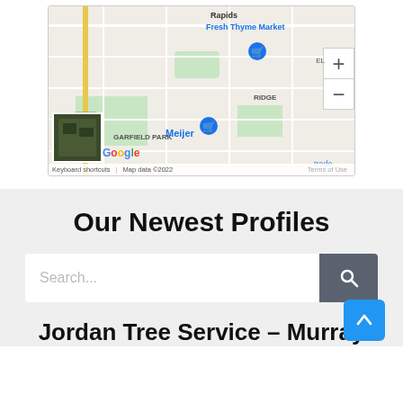[Figure (map): Google Maps view showing Garfield Park area in Grand Rapids with Fresh Thyme Market and Meijer pins, zoom controls, and map footer with keyboard shortcuts, map data 2022, and Terms of Use]
Our Newest Profiles
Search...
Jordan Tree Service – Murray